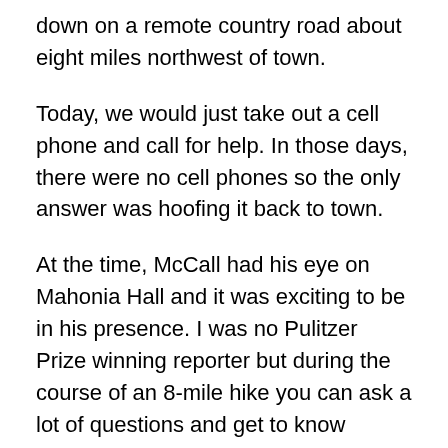down on a remote country road about eight miles northwest of town.
Today, we would just take out a cell phone and call for help. In those days, there were no cell phones so the only answer was hoofing it back to town.
At the time, McCall had his eye on Mahonia Hall and it was exciting to be in his presence. I was no Pulitzer Prize winning reporter but during the course of an 8-mile hike you can ask a lot of questions and get to know someone pretty well.
I became an instant fan of the future governor and to this date, in my mind, he remains one of the most effective political figures in Oregon history and one of several such legends mentioned whenever the real Oregon Way comes up for discussion.